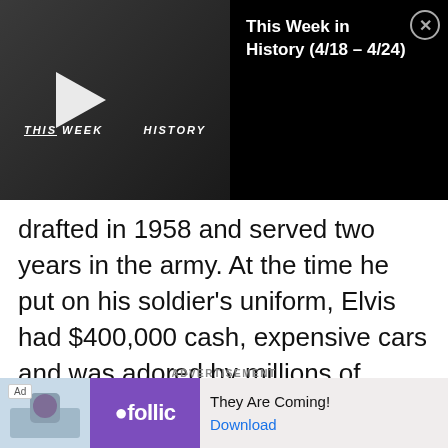[Figure (screenshot): Video player thumbnail for 'This Week in History' showing play button over dark background]
This Week in History (4/18 – 4/24)
drafted in 1958 and served two years in the army. At the time he put on his soldier's uniform, Elvis had $400,000 cash, expensive cars and was adored by millions of women around the world. He left all of that luxury lifestyle behind for two years to serve as a soldier!
ADVERTISEMENT
[Figure (screenshot): Advertisement banner for Follic game: 'They Are Coming!' with Download link]